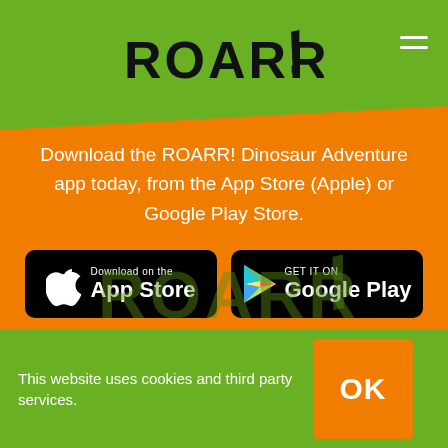ROARR!
Download the ROARR! Dinosaur Adventure app today, from the App Store (Apple) or Google Play Store.
[Figure (logo): App Store download button — black rounded rectangle with Apple logo and text 'Download on the App Store']
[Figure (logo): Google Play download button — black rounded rectangle with Play triangle logo and text 'GET IT ON Google Play']
[Figure (logo): ROARR! watermark logo in lower green section]
This website uses cookies and third party services.